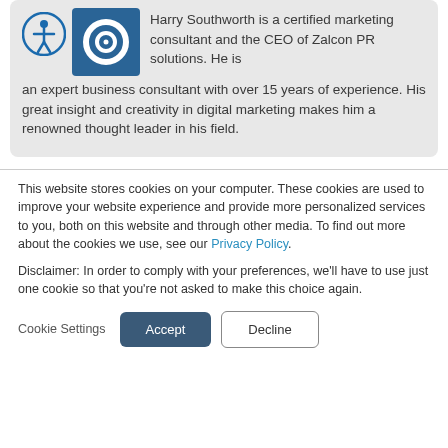Harry Southworth is a certified marketing consultant and the CEO of Zalcon PR solutions. He is an expert business consultant with over 15 years of experience. His great insight and creativity in digital marketing makes him a renowned thought leader in his field.
This website stores cookies on your computer. These cookies are used to improve your website experience and provide more personalized services to you, both on this website and through other media. To find out more about the cookies we use, see our Privacy Policy.
Disclaimer: In order to comply with your preferences, we'll have to use just one cookie so that you're not asked to make this choice again.
Cookie Settings | Accept | Decline